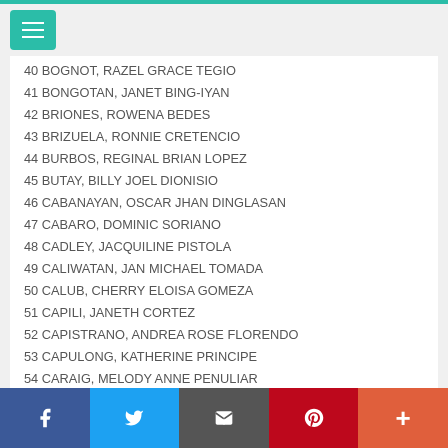40 BOGNOT, RAZEL GRACE TEGIO
41 BONGOTAN, JANET BING-IYAN
42 BRIONES, ROWENA BEDES
43 BRIZUELA, RONNIE CRETENCIO
44 BURBOS, REGINAL BRIAN LOPEZ
45 BUTAY, BILLY JOEL DIONISIO
46 CABANAYAN, OSCAR JHAN DINGLASAN
47 CABARO, DOMINIC SORIANO
48 CADLEY, JACQUILINE PISTOLA
49 CALIWATAN, JAN MICHAEL TOMADA
50 CALUB, CHERRY ELOISA GOMEZA
51 CAPILI, JANETH CORTEZ
52 CAPISTRANO, ANDREA ROSE FLORENDO
53 CAPULONG, KATHERINE PRINCIPE
54 CARAIG, MELODY ANNE PENULIAR
55 CARANZO, RUEL SABANAL
56 CAYABAS, APRIELLE QUINO
57 CAÑAS, LYNDONN JAKE CASILLANO
58 CAÑETE, SILVESTRE JR DAUD